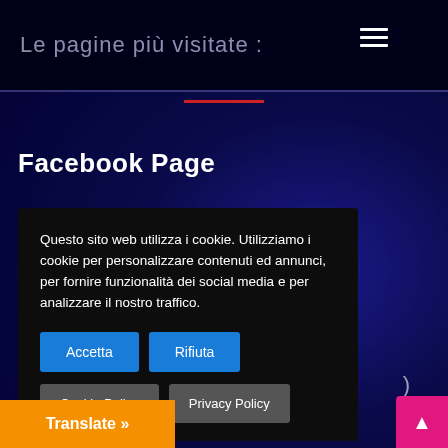Le pagine più visitate :
Facebook Page
Questo sito web utilizza i cookie. Utilizziamo i cookie per personalizzare contenuti ed annunci, per fornire funzionalità dei social media e per analizzare il nostro traffico.
Accetta
Rifiuta
Cookie Policy
Privacy Policy
Translate »